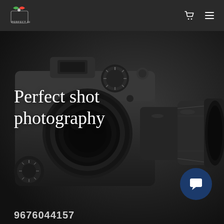[Figure (logo): Perfect Shot photography logo with colorful camera icon and text]
[Figure (photo): Dark moody close-up photograph of a professional DSLR camera with large telephoto lens, dark background]
Perfect shot photography
9676044157